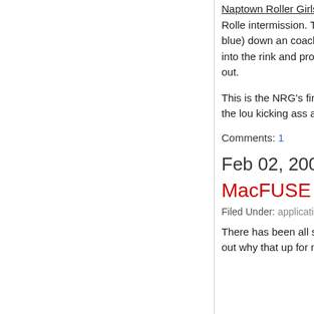Naptown Roller Girls put the smack down on the Hard K... for a few minutes but the Tornado Sirens (Naptown Rolle... intermission. They held on to win by 3 points in the last J... threw one of the Hard Knox girls (black-n-blue) down an... coach ran over to break it up and was then thrown out fo... came back over and threw a chair into the rink and proce... was pure madness. Finally the dust settled and all was ri... should have been thrown out.
This is the NRG's first season and it's been a pretty good... bout on May 12. Go Tornado Sirens! I'll be yelling the lou... kicking ass against Knoxville. J. Roller #420 is in a close...
Comments: 1
Feb 02, 2007
MacFUSE makes sense to me now
Filed Under: applications  apple
There has been all sorts of excitement about Amit Singh'... the internets. For the life of me I could not figure out why... that up for me in his Macworld 2007 talk titled "Taming M...